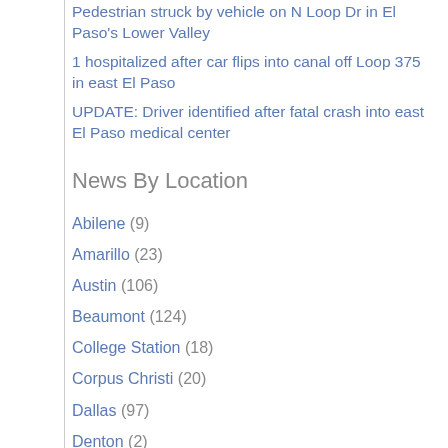Pedestrian struck by vehicle on N Loop Dr in El Paso's Lower Valley
1 hospitalized after car flips into canal off Loop 375 in east El Paso
UPDATE: Driver identified after fatal crash into east El Paso medical center
News By Location
Abilene (9)
Amarillo (23)
Austin (106)
Beaumont (124)
College Station (18)
Corpus Christi (20)
Dallas (97)
Denton (2)